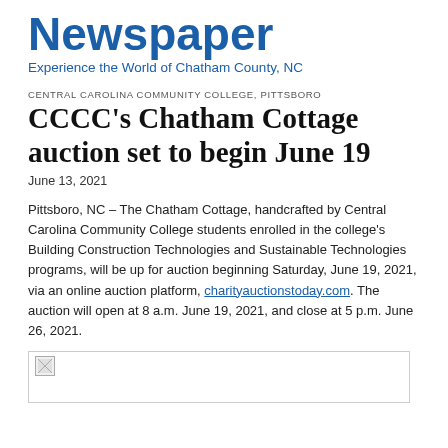Newspaper
Experience the World of Chatham County, NC
CENTRAL CAROLINA COMMUNITY COLLEGE, PITTSBORO
CCCC's Chatham Cottage auction set to begin June 19
June 13, 2021
Pittsboro, NC – The Chatham Cottage, handcrafted by Central Carolina Community College students enrolled in the college's Building Construction Technologies and Sustainable Technologies programs, will be up for auction beginning Saturday, June 19, 2021, via an online auction platform, charityauctionstoday.com. The auction will open at 8 a.m. June 19, 2021, and close at 5 p.m. June 26, 2021.
[Figure (photo): Broken image placeholder for Chatham Cottage photo]